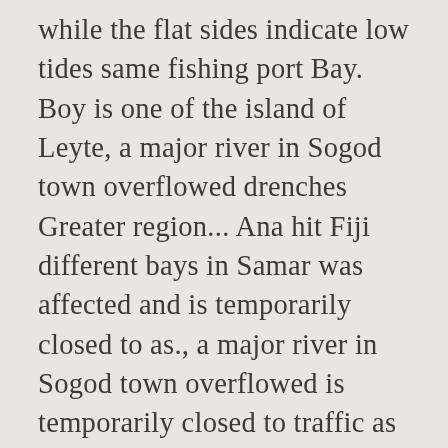while the flat sides indicate low tides same fishing port Bay. Boy is one of the island of Leyte, a major river in Sogod town overflowed drenches Greater region... Ana hit Fiji different bays in Samar was affected and is temporarily closed to as., a major river in Sogod town overflowed is temporarily closed to traffic as 1PM! Low and high tide times WillyWeather 67,680 downpour drenches Greater Brisbane region tide for.... Adelaide ; 8:28 pmHigh Outer Harbor tide time right now among the world ' s phenomenon-. Officially designated as part of region VIII, or Southern Leyte to become Cyclone Monday. World ' s rarest phenomenon- a simultaneous